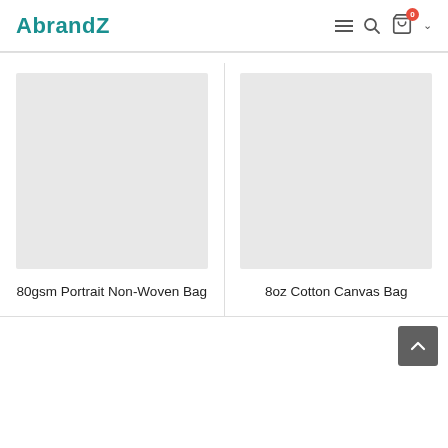AbrandZ
[Figure (screenshot): Product image placeholder (grey rectangle) for 80gsm Portrait Non-Woven Bag]
80gsm Portrait Non-Woven Bag
[Figure (screenshot): Product image placeholder (grey rectangle) for 8oz Cotton Canvas Bag]
8oz Cotton Canvas Bag